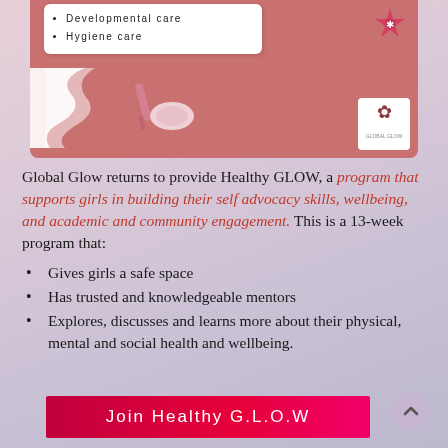[Figure (illustration): Decorative header image with rose/mauve background showing menstrual health items (tampon, pad), a white card with bullet list items 'Developmental care' and 'Hygiene care', a zigzag white shape on the left, a pink star badge top-right, and a Global Glow logo bottom-right.]
Global Glow returns to provide Healthy GLOW, a program that supports girls in building their self advocacy skills, wellbeing, and academic and community engagement. This is a 13-week program that:
Gives girls a safe space
Has trusted and knowledgeable mentors
Explores, discusses and learns more about their physical, mental and social health and wellbeing.
Join Healthy G.L.O.W